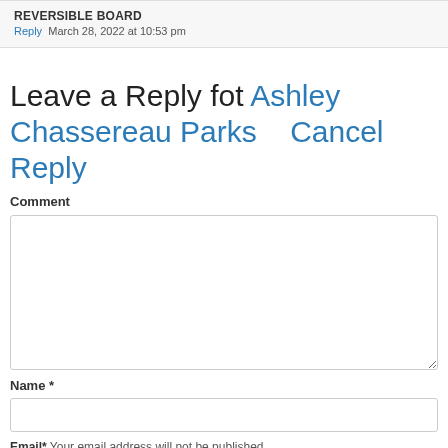REVERSIBLE BOARD
Reply  March 28, 2022 at 10:53 pm
Leave a Reply fot Ashley Chassereau Parks    Cancel Reply
Comment
Name *
Email*  Your email address will not be published.